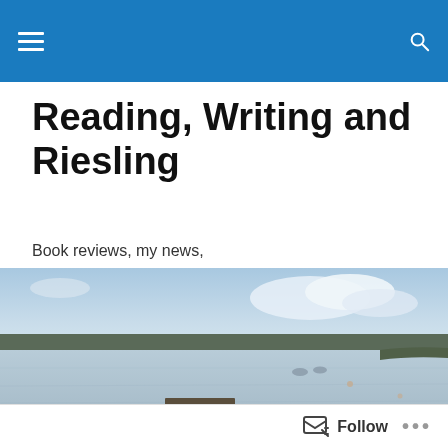Reading, Writing and Riesling
Book reviews, my news,
[Figure (photo): A calm lake or river scene with a wooden picnic bench on a small dock, surrounded by grasses, birds on the water, and a wide sky with clouds. The foreground is in desaturated tones, the water and sky in muted blues.]
TAGGED WITH WW11
Follow ...